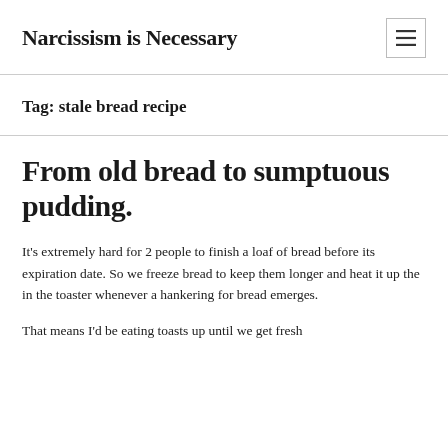Narcissism is Necessary
Tag: stale bread recipe
From old bread to sumptuous pudding.
It's extremely hard for 2 people to finish a loaf of bread before its expiration date. So we freeze bread to keep them longer and heat it up the in the toaster whenever a hankering for bread emerges.
That means I'd be eating toasts up until we get fresh